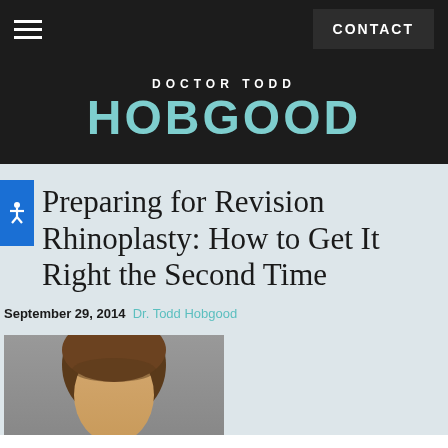CONTACT
DOCTOR TODD HOBGOOD
Preparing for Revision Rhinoplasty: How to Get It Right the Second Time
September 29, 2014  Dr. Todd Hobgood
[Figure (photo): Photograph of a woman's face, partial view showing top of head and face from forehead down, gray/studio background]